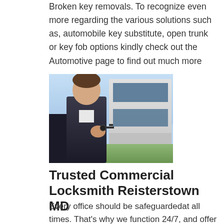Broken key removals. To recognize even more regarding the various solutions such as, automobile key substitute, open trunk or key fob options kindly check out the Automotive page to find out much more
[Figure (photo): A professional woman in a dark suit holding a key toward the camera, with a modern commercial building in the background under a blue sky.]
Trusted Commercial Locksmith Reisterstown MD
Every office should be safeguardedat all times. That's why we function 24/7, and offer you with one of the most safe commercial locksmith choices. At Asecure commercial locksmith Reisterstown MD. We deal with